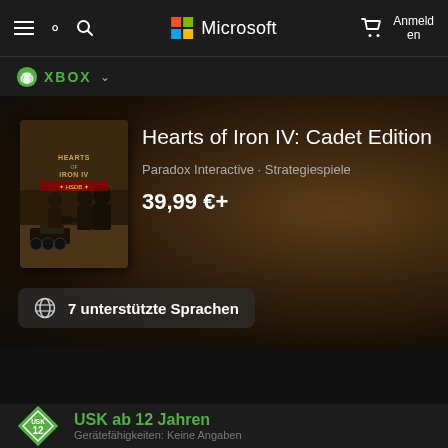Microsoft Store – Xbox – Navigation bar with hamburger menu, search, cart, Anmelden
[Figure (logo): Xbox logo with green circle X and XBOX text with dropdown chevron]
Hearts of Iron IV: Cadet Edition
Paradox Interactive · Strategiespiele
39,99 €+
7 unterstützte Sprachen
[Figure (other): USK age rating badge showing 12]
USK ab 12 Jahren